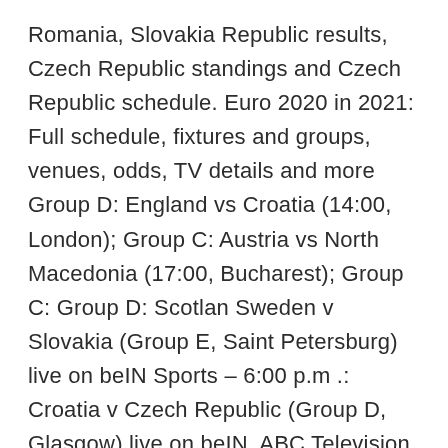Romania, Slovakia Republic results, Czech Republic standings and Czech Republic schedule. Euro 2020 in 2021: Full schedule, fixtures and groups, venues, odds, TV details and more Group D: England vs Croatia (14:00, London); Group C: Austria vs North Macedonia (17:00, Bucharest); Group C: Group D: Scotlan Sweden v Slovakia (Group E, Saint Petersburg) live on beIN Sports – 6:00 p.m .: Croatia v Czech Republic (Group D, Glasgow) live on beIN  ABC Television Network will broadcast five matches (two group stage matches, two round of 16, and one Austria (#26), Belgium (1), Croatia (6), Czech Republic (45), Denmark (16), England (4), Finland MATCH SCHEDULE ( Friday, June 18. Sweden vs. Slovakia, 2 PM, BBC. Croatia vs. Czech Republic, 5 PM, BBC. England vs.